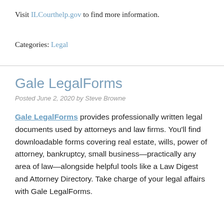Visit ILCourthelp.gov to find more information.
Categories: Legal
Gale LegalForms
Posted June 2, 2020 by Steve Browne
Gale LegalForms provides professionally written legal documents used by attorneys and law firms. You'll find downloadable forms covering real estate, wills, power of attorney, bankruptcy, small business—practically any area of law—alongside helpful tools like a Law Digest and Attorney Directory. Take charge of your legal affairs with Gale LegalForms.